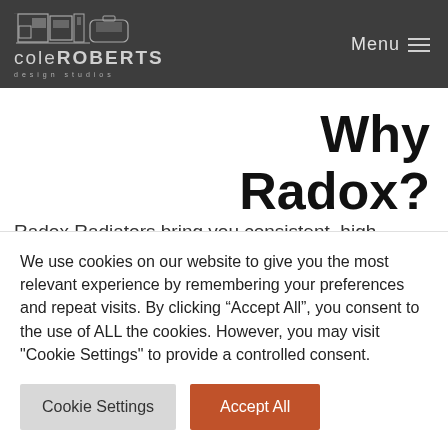Cole Roberts Design Studios | Menu
Why Radox?
Radox Radiators bring you consistent, high quality products and provide you with desirable, affordable, contemporary designer towel warmers and radiators.
We use cookies on our website to give you the most relevant experience by remembering your preferences and repeat visits. By clicking “Accept All”, you consent to the use of ALL the cookies. However, you may visit "Cookie Settings" to provide a controlled consent.
Cookie Settings | Accept All